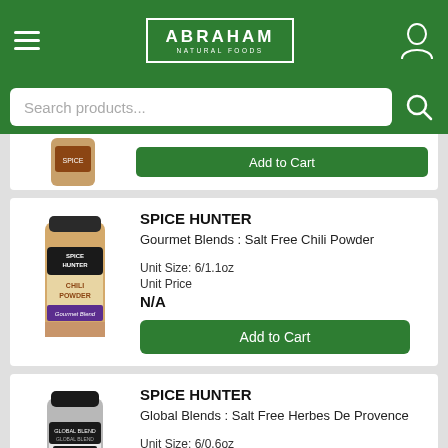ABRAHAM NATURAL FOODS
Search products...
SPICE HUNTER
Gourmet Blends : Salt Free Chili Powder
Unit Size: 6/1.1oz
Unit Price
N/A
Add to Cart
SPICE HUNTER
Global Blends : Salt Free Herbes De Provence
Unit Size: 6/0.6oz
Unit Price